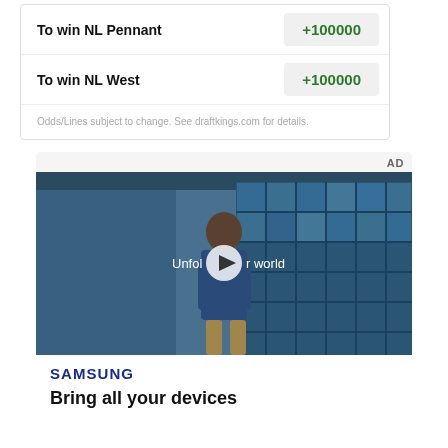| Bet Type | Odds |
| --- | --- |
| To win NL Pennant | +100000 |
| To win NL West | +100000 |
Odds/Lines subject to change. See draftkings.com for details.
[Figure (screenshot): AD label banner — Samsung advertisement video player showing a young man in a denim jacket walking in a cafeteria with glass windows, play button overlay with text 'Unfold your world', Samsung logo and 'Bring all your devices' tagline below.]